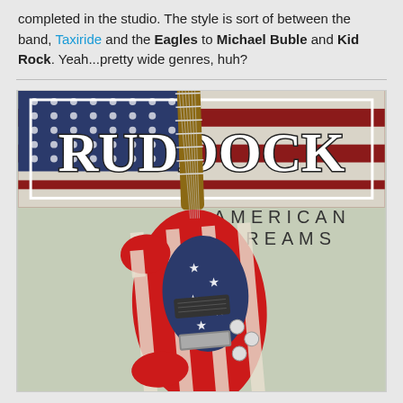completed in the studio. The style is sort of between the band, Taxiride and the Eagles to Michael Buble and Kid Rock. Yeah...pretty wide genres, huh?
[Figure (illustration): Album cover for 'Ruddock - American Dreams' featuring an American flag-painted electric guitar (Stratocaster style) against a light greenish-grey textured background. The top portion shows an American flag background with the band name 'RUDDOCK' in large white bold letters with dark outline inside a white border rectangle. Below and to the right reads 'AMERICAN DREAMS' in spaced capital letters.]